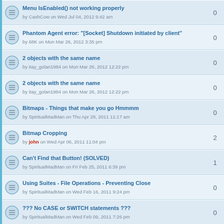Menu IsEnabled() not working properly by CashCow on Wed Jul 04, 2012 9:42 am | replies: 0
Phantom Agent error: "[Socket] Shutdown initiated by client" by 68K on Mon Mar 26, 2012 3:35 pm | replies: 0
2 objects with the same name by itay_golan1984 on Mon Mar 26, 2012 12:22 pm | replies: 0
2 objects with the same name by itay_golan1984 on Mon Mar 26, 2012 12:22 pm | replies: 0
Bitmaps - Things that make you go Hmmmm by SpiritualMadMan on Thu Apr 28, 2011 11:17 am | replies: 0
Bitmap Cropping by john on Wed Apr 06, 2011 11:04 pm | replies: 2
Can't Find that Button! (SOLVED) by SpiritualMadMan on Fri Feb 25, 2011 6:39 pm | replies: 1
Using Suites - File Operations - Preventing Close by SpiritualMadMan on Wed Feb 16, 2011 9:24 pm | replies: 0
??? No CASE or SWITCH statements ??? by SpiritualMadMan on Wed Feb 09, 2011 7:26 pm | replies: 0
Can't get StrToReal to Work by SpiritualMadMan on Mon Feb 07, 2011 9:35 pm | replies: 2
Using Tabbed Dialog Boxes by SpiritualMadMan on Tue Dec 07, 2010 9:58 pm | replies: 2